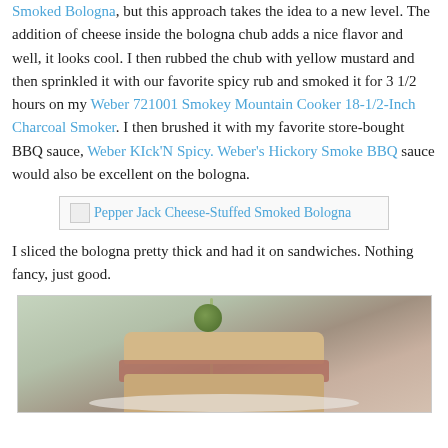Smoked Bologna, but this approach takes the idea to a new level. The addition of cheese inside the bologna chub adds a nice flavor and well, it looks cool. I then rubbed the chub with yellow mustard and then sprinkled it with our favorite spicy rub and smoked it for 3 1/2 hours on my Weber 721001 Smokey Mountain Cooker 18-1/2-Inch Charcoal Smoker. I then brushed it with my favorite store-bought BBQ sauce, Weber KIck'N Spicy. Weber's Hickory Smoke BBQ sauce would also be excellent on the bologna.
[Figure (photo): Placeholder image for Pepper Jack Cheese-Stuffed Smoked Bologna with broken image icon and alt text link]
I sliced the bologna pretty thick and had it on sandwiches. Nothing fancy, just good.
[Figure (photo): Photo of bologna sandwiches on a plate with an olive on a pick, bread slices visible, pinkish bologna meat showing]